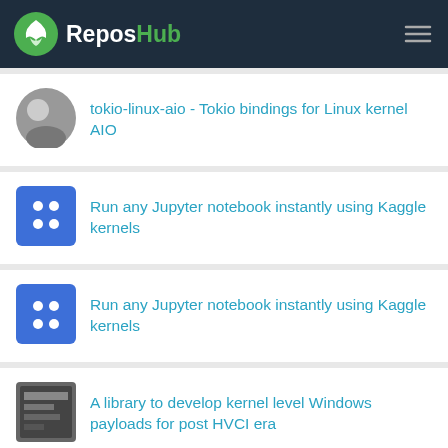ReposHub
tokio-linux-aio - Tokio bindings for Linux kernel AIO
Run any Jupyter notebook instantly using Kaggle kernels
Run any Jupyter notebook instantly using Kaggle kernels
A library to develop kernel level Windows payloads for post HVCI era
kernel smoothers in lua